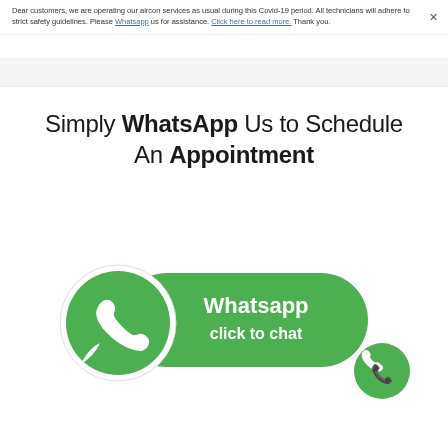Dear customers, we are operating our aircon services as usual during this Covid-19 period. All technicians will adhere to strict safety guidelines. Please Whatsapp us for assistance. Click here to read more. Thank you.
Simply WhatsApp Us to Schedule An Appointment
[Figure (logo): WhatsApp click to chat button with large logo and smaller circular icon]